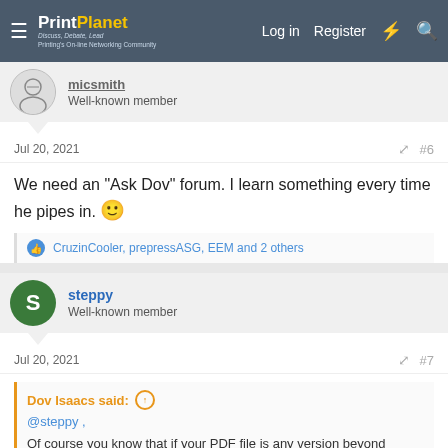PrintPlanet — Log in   Register
micsmith — Well-known member
Jul 20, 2021   #6
We need an "Ask Dov" forum. I learn something every time he pipes in. 🙂
CruzinCooler, prepressASG, EEM and 2 others
steppy — Well-known member
Jul 20, 2021   #7
Dov Isaacs said: ↑
@steppy ,
Of course you know that if your PDF file is any version beyond